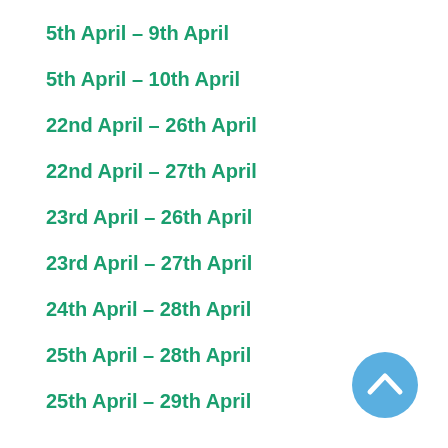5th April – 9th April
5th April – 10th April
22nd April – 26th April
22nd April – 27th April
23rd April – 26th April
23rd April – 27th April
24th April – 28th April
25th April – 28th April
25th April – 29th April
[Figure (other): Blue circular button with upward chevron arrow icon]